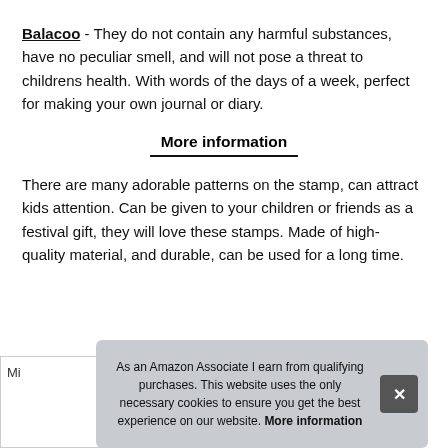Balacoo - They do not contain any harmful substances, have no peculiar smell, and will not pose a threat to childrens health. With words of the days of a week, perfect for making your own journal or diary.
More information
There are many adorable patterns on the stamp, can attract kids attention. Can be given to your children or friends as a festival gift, they will love these stamps. Made of high- quality material, and durable, can be used for a long time.
As an Amazon Associate I earn from qualifying purchases. This website uses the only necessary cookies to ensure you get the best experience on our website. More information